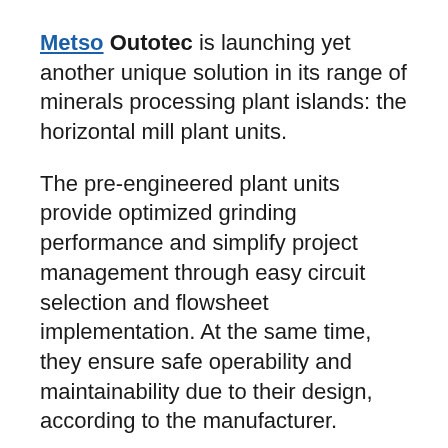Metso Outotec is launching yet another unique solution in its range of minerals processing plant islands: the horizontal mill plant units.
The pre-engineered plant units provide optimized grinding performance and simplify project management through easy circuit selection and flowsheet implementation. At the same time, they ensure safe operability and maintainability due to their design, according to the manufacturer.
The plant units feature Metso Outotec's industry-leading technologies including grinding mills, slurry pumps, hydrocyclones, conveying equipment, automation and service support. The scope of the unit can be tailored according to project requirements (brownfield or greenfield, open or closed circuit).
"Choosing the right solution for a grinding process can be a complex task. In addition to financial and